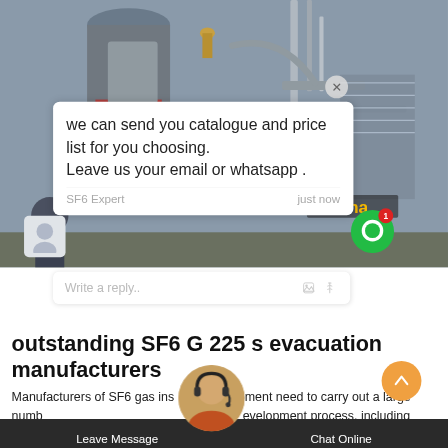[Figure (photo): Industrial SF6 electrical equipment / transformer machinery at a substation, gray metal pipes and structures visible]
we can send you catalogue and price list for you choosing.
Leave us your email or whatsapp.
SF6 Expert   just now
Write a reply..
outstanding SF6 G 225 s evacuation manufacturers
Manufacturers of SF6 gas insulation equipment need to carry out a large number of tests during the research and development process, including testing the equipment under extreme
Leave Message   Chat Online